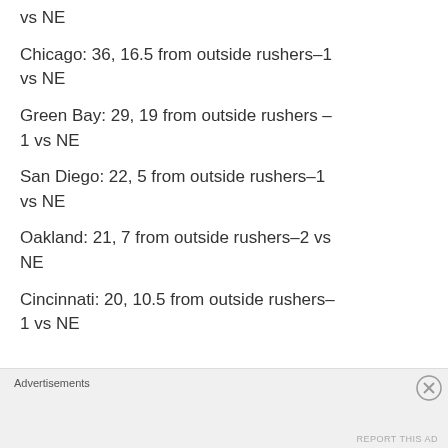vs NE
Chicago: 36, 16.5 from outside rushers–1 vs NE
Green Bay: 29, 19 from outside rushers – 1 vs NE
San Diego: 22, 5 from outside rushers–1 vs NE
Oakland: 21, 7 from outside rushers–2 vs NE
Cincinnati: 20, 10.5 from outside rushers–1 vs NE
Advertisements